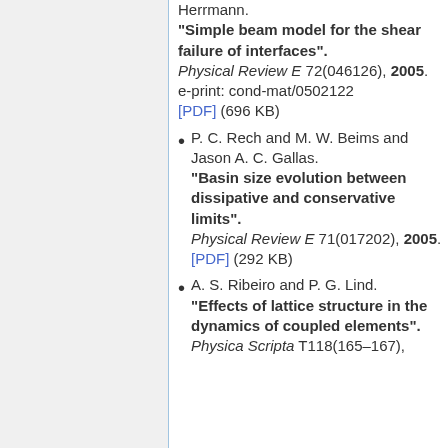Herrmann. "Simple beam model for the shear failure of interfaces". Physical Review E 72(046126), 2005. e-print: cond-mat/0502122 [PDF] (696 KB)
P. C. Rech and M. W. Beims and Jason A. C. Gallas. "Basin size evolution between dissipative and conservative limits". Physical Review E 71(017202), 2005. [PDF] (292 KB)
A. S. Ribeiro and P. G. Lind. "Effects of lattice structure in the dynamics of coupled elements". Physica Scripta T118(165–167),